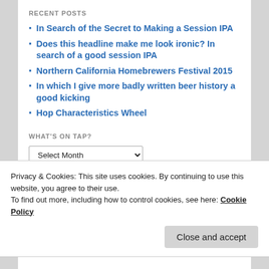RECENT POSTS
In Search of the Secret to Making a Session IPA
Does this headline make me look ironic? In search of a good session IPA
Northern California Homebrewers Festival 2015
In which I give more badly written beer history a good kicking
Hop Characteristics Wheel
WHAT'S ON TAP?
CATEGORIES
Privacy & Cookies: This site uses cookies. By continuing to use this website, you agree to their use.
To find out more, including how to control cookies, see here: Cookie Policy
Lake County Homebrewers